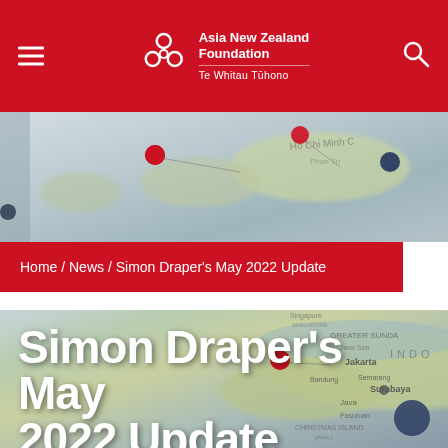Asia New Zealand Foundation Te Whitau Tūhono
[Figure (photo): Blurred map photo showing Southeast Asia region with map pins (red and blue) on Singapore, Jakarta, Java area. Top section shows Ho Chi Minh City area.]
Home / News / Simon Draper's May 2022 Update
Simon Draper's May 2022 Update